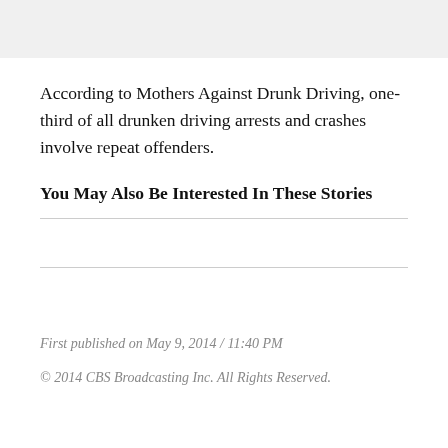According to Mothers Against Drunk Driving, one-third of all drunken driving arrests and crashes involve repeat offenders.
You May Also Be Interested In These Stories
First published on May 9, 2014 / 11:40 PM
© 2014 CBS Broadcasting Inc. All Rights Reserved.